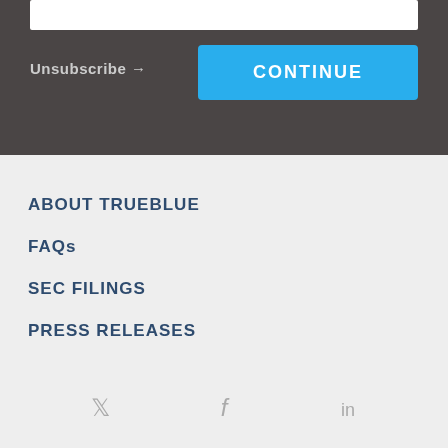Unsubscribe →
CONTINUE
ABOUT TRUEBLUE
FAQs
SEC FILINGS
PRESS RELEASES
[Figure (other): Social media icons: Twitter bird, Facebook f, LinkedIn in]